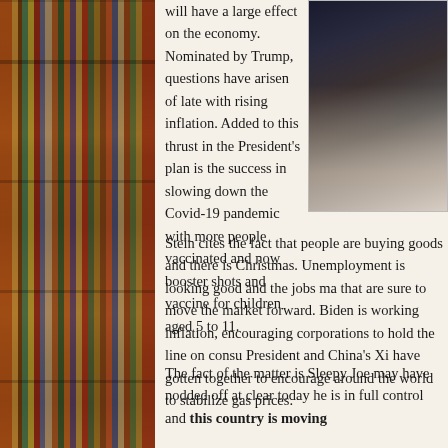[Figure (photo): Photo of a man in a suit adjusting his glasses, photographed against a dark background]
will have a large effect on the economy. Nominated by Trump, questions have arisen of late with rising inflation. Added to this thrust in the President's plan is the success in slowing down the Covid-19 pandemic with more people vaccinated and now booster shots and vaccine for children aged 5 to 11.
Stein cites the fact that people are buying goods and there is Christmas. Unemployment is looking good and the jobs ma that are sure to move the market forward. Biden is working inflation, encouraging corporations to hold the line on consu President and China's Xi have gotten together to encourage around the world to stabilize gas prices.
The fact of the matter is Sleepy Joe may have nodded off at clear today he is in full control and this country is moving